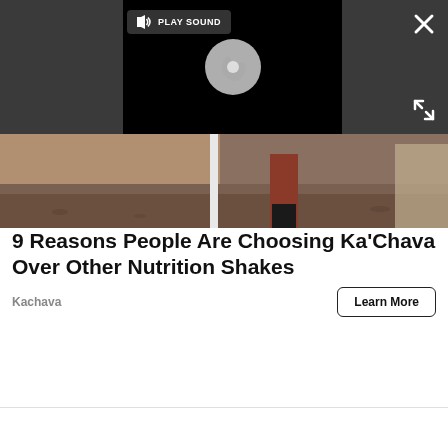[Figure (screenshot): Video player overlay on dark gray background with PLAY SOUND button, spinning loading circle, close X button top right, and expand icon bottom right]
[Figure (photo): Partial photo of person standing on dirt/gravel ground wearing dark boots and red/brown pants near a white post]
9 Reasons People Are Choosing Ka'Chava Over Other Nutrition Shakes
Kachava
Learn More